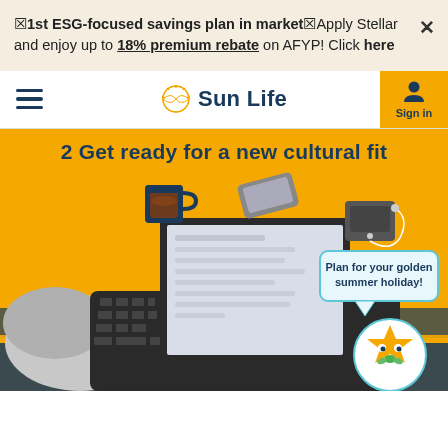★1st ESG-focused savings plan in market★Apply Stellar and enjoy up to 18% premium rebate on AFYP! Click here
[Figure (logo): Sun Life logo with navigation bar including hamburger menu and Sign in button]
[Figure (illustration): Hero banner with number 2 and text 'Get ready for a new cultural fit', showing top-down view of person typing on laptop with coffee mug, smartphone, and music player on yellow background, with speech bubble 'Plan for your golden summer holiday!' and Sun Life cartoon sun mascot]